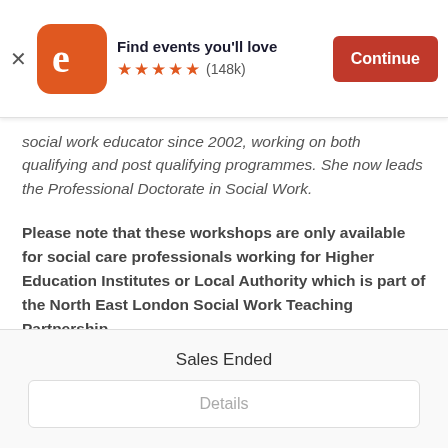[Figure (screenshot): Eventbrite app banner with logo, 'Find events you'll love' title, 5-star rating (148k reviews), and orange Continue button]
social work educator since 2002, working on both qualifying and post qualifying programmes. She now leads the Professional Doctorate in Social Work.
Please note that these workshops are only available for social care professionals working for Higher Education Institutes or Local Authority which is part of the North East London Social Work Teaching Partnership.
Sales Ended
Details